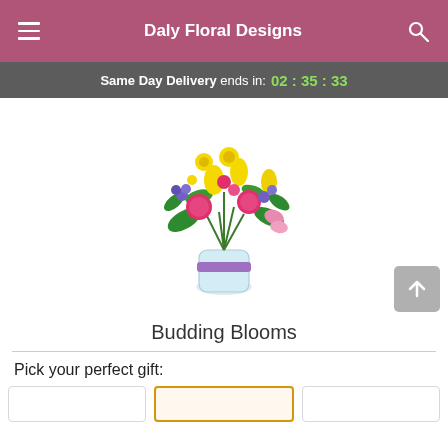Daly Floral Designs
Same Day Delivery ends in: 02 : 35 : 33
[Figure (photo): Colorful flower bouquet in a glass vase with purple ribbon, featuring yellow tulips, pink carnations, purple wildflowers, and green foliage.]
Budding Blooms
Pick your perfect gift:
Three gift option buttons in a row (unselected, selected/highlighted, unselected)